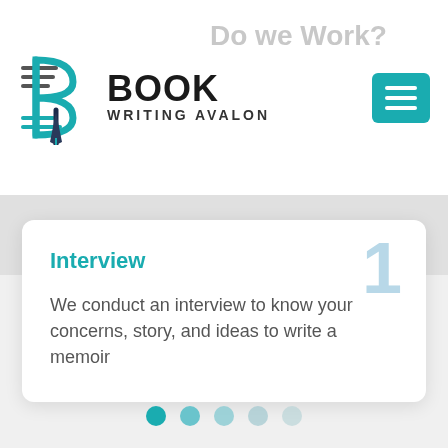[Figure (logo): Book Writing Avalon logo with teal B icon and text]
How Do We Work?
[Figure (other): Teal hamburger menu button]
Interview
We conduct an interview to know your concerns, story, and ideas to write a memoir